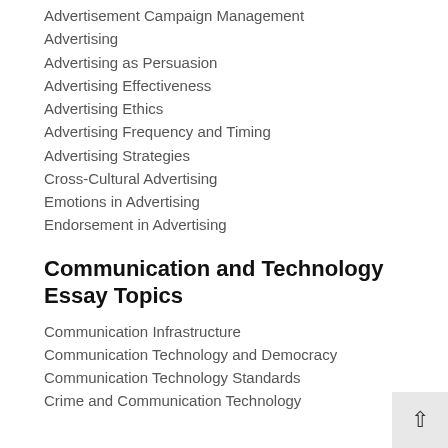Advertisement Campaign Management
Advertising
Advertising as Persuasion
Advertising Effectiveness
Advertising Ethics
Advertising Frequency and Timing
Advertising Strategies
Cross-Cultural Advertising
Emotions in Advertising
Endorsement in Advertising
Communication and Technology Essay Topics
Communication Infrastructure
Communication Technology and Democracy
Communication Technology Standards
Crime and Communication Technology